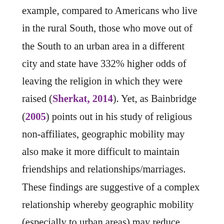example, compared to Americans who live in the rural South, those who move out of the South to an urban area in a different city and state have 332% higher odds of leaving the religion in which they were raised (Sherkat, 2014). Yet, as Bainbridge (2005) points out in his study of religious non-affiliates, geographic mobility may also make it more difficult to maintain friendships and relationships/marriages. These findings are suggestive of a complex relationship whereby geographic mobility (especially to urban areas) may reduce network stability, but may increase network demographic and ideological diversity. Thus, it is possible that individuals who move to urban areas (relative to those who remain living in more rural areas) will have a greater degree of network